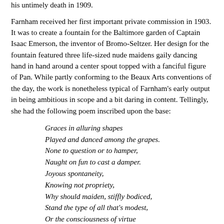his untimely death in 1909.
Farnham received her first important private commission in 1903. It was to create a fountain for the Baltimore garden of Captain Isaac Emerson, the inventor of Bromo-Seltzer. Her design for the fountain featured three life-sized nude maidens gaily dancing hand in hand around a center spout topped with a fanciful figure of Pan. While partly conforming to the Beaux Arts conventions of the day, the work is nonetheless typical of Farnham's early output in being ambitious in scope and a bit daring in content. Tellingly, she had the following poem inscribed upon the base:
Graces in alluring shapes
Played and danced among the grapes.
None to question or to hamper,
Naught on fun to cast a damper.
Joyous spontaneity,
Knowing not propriety,
Why should maiden, stiffly bodiced,
Stand the type of all that's modest,
Or the consciousness of virtue
Be expressed by shoes that hurt you?
Would the All Wise Power saw fit
To unlace our lives a bit
Give us room to breathe, and be
Like the gods in Arcady!